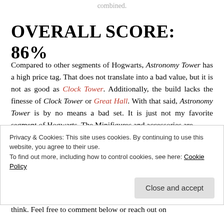combined.
OVERALL SCORE: 86%
Compared to other segments of Hogwarts, Astronomy Tower has a high price tag. That does not translate into a bad value, but it is not as good as Clock Tower. Additionally, the build lacks the finesse of Clock Tower or Great Hall. With that said, Astronomy Tower is by no means a bad set. It is just not my favorite segment of Hogwarts. The Minifigures and accessories are
Privacy & Cookies: This site uses cookies. By continuing to use this website, you agree to their use.
To find out more, including how to control cookies, see here: Cookie Policy
think. Feel free to comment below or reach out on